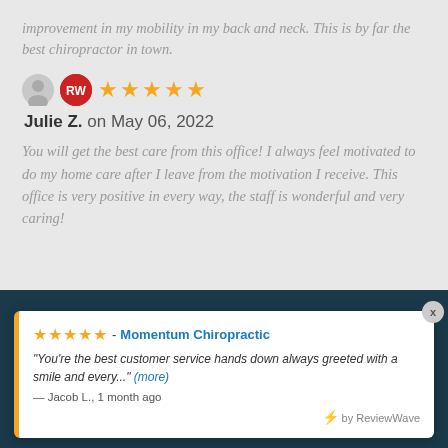improvement in my mobility in my back and neck. This is by far the best chiropractor in town.
Julie Z.  on May 06, 2022
You will get the best care from this office! I always feel motivated to do my home care after I leave from the motivation I receive. This office is very positive in every way, the staff is wonderful and very caring!
★★★★★ - Momentum Chiropractic "You're the best customer service hands down always greeted with a smile and every..." (more) — Jacob L., 1 month ago by ReviewWave